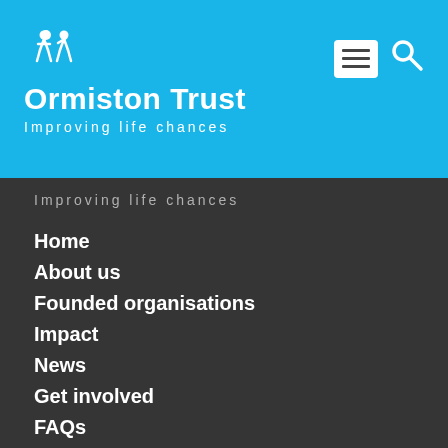Ormiston Trust – Improving life chances
Improving life chances
Home
About us
Founded organisations
Impact
News
Get involved
FAQs
Follow us on Twitter